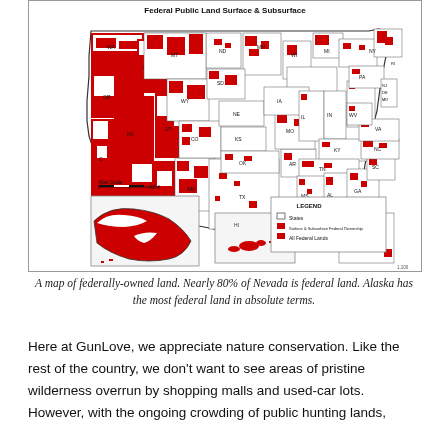[Figure (map): A map of the United States showing Federal Public Land Surface & Subsurface. Western states show large red areas indicating federal land ownership. Includes Alaska and Hawaii insets, a legend showing States (white), and All Federal Lands (red), and a map scale bar.]
A map of federally-owned land. Nearly 80% of Nevada is federal land. Alaska has the most federal land in absolute terms.
Here at GunLove, we appreciate nature conservation. Like the rest of the country, we don't want to see areas of pristine wilderness overrun by shopping malls and used-car lots. However, with the ongoing crowding of public hunting lands,